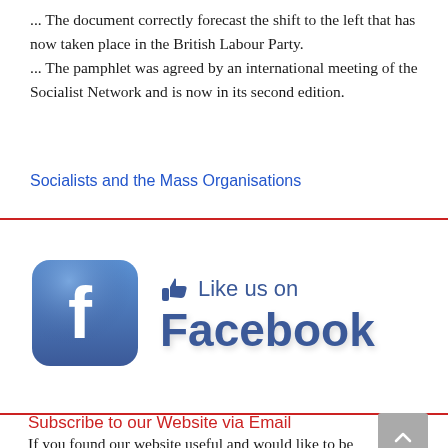... The document correctly forecast the shift to the left that has now taken place in the British Labour Party.
... The pamphlet was agreed by an international meeting of the Socialist Network and is now in its second edition.
Socialists and the Mass Organisations
[Figure (logo): Facebook Like us on Facebook logo with Facebook icon and thumbs up]
Subscribe to our Website via Email
If you found our website useful and would like to be